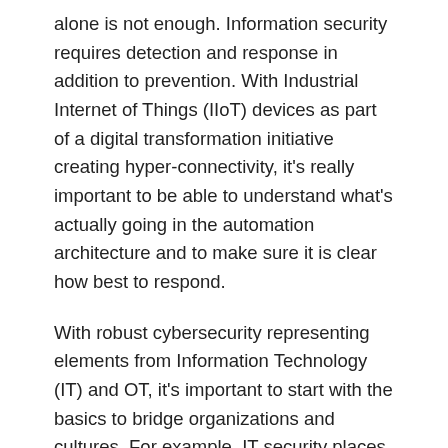alone is not enough. Information security requires detection and response in addition to prevention. With Industrial Internet of Things (IIoT) devices as part of a digital transformation initiative creating hyper-connectivity, it's really important to be able to understand what's actually going in the automation architecture and to make sure it is clear how best to respond.
With robust cybersecurity representing elements from Information Technology (IT) and OT, it's important to start with the basics to bridge organizations and cultures. For example, IT security places a very high priority on software vulnerabilities. On the OT side, intrusion detection and response are critical to keep bad actors from learning how the controls operate and how to cause problems. It's important that the cybersecurity plan have a common mission to establish priorities and meld organizational cultural differences.
Peter noted that many times, communications paths are